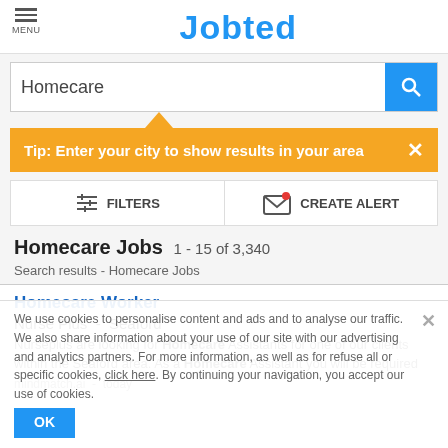MENU  Jobted
Homecare
Tip: Enter your city to show results in your area
FILTERS   CREATE ALERT
Homecare Jobs  1 - 15 of 3,340
Search results - Homecare Jobs
Homecare Worker
Nurse Plus  -  Seaford
Nurseplus are looking for Homecare Assistants for one of our clients within the Seaford area. As a Homecare Assistant you will be required
mindmatch.ai  -  today
We use cookies to personalise content and ads and to analyse our traffic. We also share information about your use of our site with our advertising and analytics partners. For more information, as well as for refuse all or specific cookies, click here. By continuing your navigation, you accept our use of cookies.